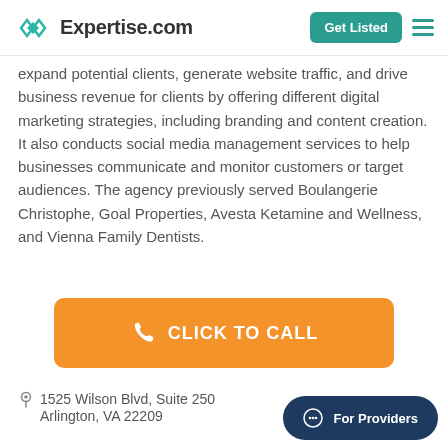Expertise.com — Get Listed
expand potential clients, generate website traffic, and drive business revenue for clients by offering different digital marketing strategies, including branding and content creation. It also conducts social media management services to help businesses communicate and monitor customers or target audiences. The agency previously served Boulangerie Christophe, Goal Properties, Avesta Ketamine and Wellness, and Vienna Family Dentists.
CLICK TO CALL
1525 Wilson Blvd, Suite 250 Arlington, VA 22209
For Providers